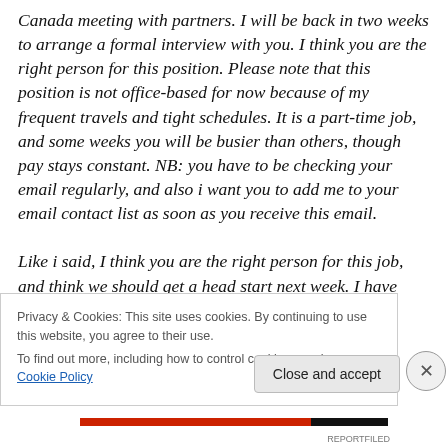Canada meeting with partners. I will be back in two weeks to arrange a formal interview with you. I think you are the right person for this position. Please note that this position is not office-based for now because of my frequent travels and tight schedules. It is a part-time job, and some weeks you will be busier than others, though pay stays constant. NB: you have to be checking your email regularly, and also i want you to add me to your email contact list as soon as you receive this email.
Like i said, I think you are the right person for this job, and think we should get a head start next week. I have some
Privacy & Cookies: This site uses cookies. By continuing to use this website, you agree to their use.
To find out more, including how to control cookies, see here: Cookie Policy